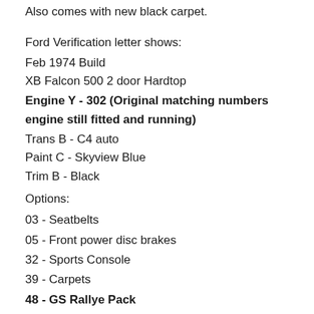Also comes with new black carpet.
Ford Verification letter shows:
Feb 1974 Build
XB Falcon 500 2 door Hardtop
Engine Y - 302 (Original matching numbers engine still fitted and running)
Trans B - C4 auto
Paint C - Skyview Blue
Trim B - Black
Options:
03 - Seatbelts
05 - Front power disc brakes
32 - Sports Console
39 - Carpets
48 - GS Rallye Pack
88 - 185SR x 14 Radial Ply Tyres